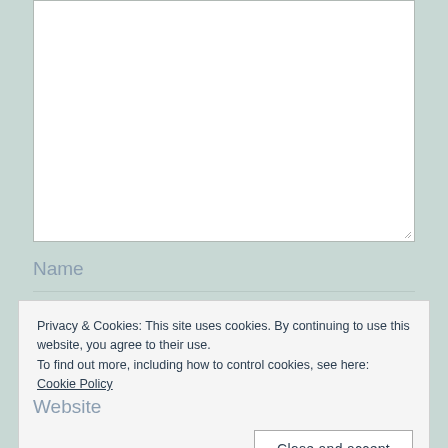[Figure (other): Empty white textarea input box with resize handle at bottom right]
Name
Privacy & Cookies: This site uses cookies. By continuing to use this website, you agree to their use.
To find out more, including how to control cookies, see here: Cookie Policy

Close and accept
Website